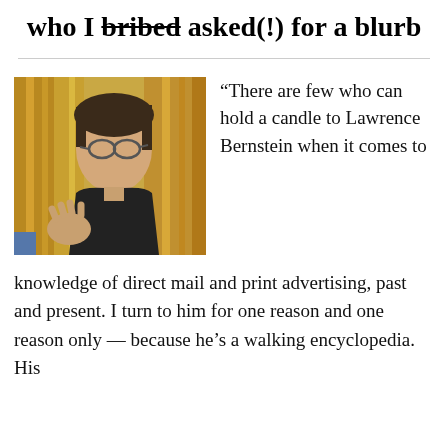who I bribed asked(!) for a blurb
[Figure (photo): A man with glasses wearing a dark shirt, gesturing with his hand, in front of a golden curtain background.]
“There are few who can hold a candle to Lawrence Bernstein when it comes to knowledge of direct mail and print advertising, past and present. I turn to him for one reason and one reason only — because he’s a walking encyclopedia. His